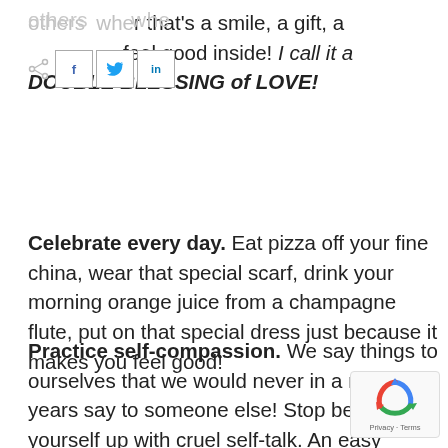[Figure (other): Social sharing buttons: share icon, Facebook (f), Twitter (bird), LinkedIn (in)]
others whether that's a smile, a gift, a donation.... we feel good inside! I call it a DOUBLE BLESSING of LOVE!
Celebrate every day. Eat pizza off your fine china, wear that special scarf, drink your morning orange juice from a champagne flute, put on that special dress just because it makes you feel good!
Practice self-compassion. We say things to ourselves that we would never in a million years say to someone else! Stop beating yourself up with cruel self-talk. An easy way to begin breaking this pattern is when